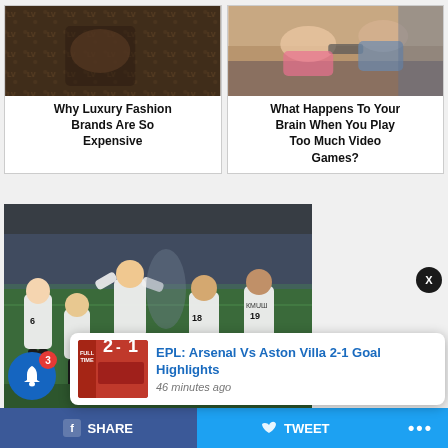[Figure (photo): Louis Vuitton luxury blanket/fabric with LV monogram pattern on a seat]
Why Luxury Fashion Brands Are So Expensive
[Figure (photo): People lying on a couch playing video games with controllers]
What Happens To Your Brain When You Play Too Much Video Games?
[Figure (photo): German national soccer team players celebrating a goal on the field, players wearing numbers 6, 18, 19]
[Figure (photo): EPL full time score thumbnail showing Arsenal vs Aston Villa 2-1]
EPL: Arsenal Vs Aston Villa 2-1 Goal Highlights
46 minutes ago